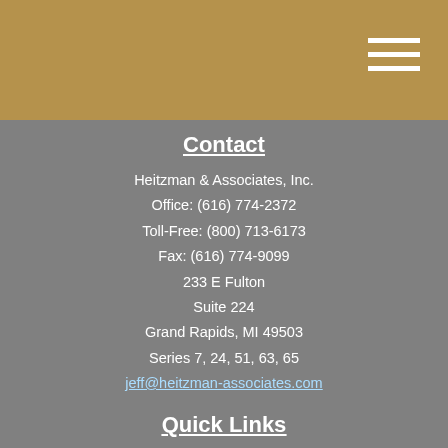Contact
Heitzman & Associates, Inc.
Office: (616) 774-2372
Toll-Free: (800) 713-6173
Fax: (616) 774-9099
233 E Fulton
Suite 224
Grand Rapids, MI 49503
Series 7, 24, 51, 63, 65
jeff@heitzman-associates.com
Quick Links
Retirement
Investment
Estate
Insurance
Tax
Money